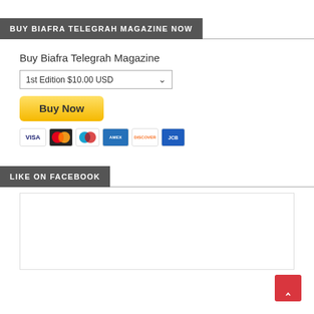BUY BIAFRA TELEGRAH MAGAZINE NOW
Buy Biafra Telegrah Magazine
1st Edition $10.00 USD
[Figure (screenshot): PayPal Buy Now button with payment card icons (VISA, Mastercard, Maestro, Amex, Discover, JCB)]
LIKE ON FACEBOOK
[Figure (screenshot): Empty Facebook like widget box]
[Figure (other): Red scroll-to-top button with upward chevron arrow]